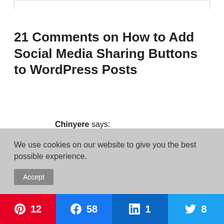21 Comments on How to Add Social Media Sharing Buttons to WordPress Posts
Chinyere says:
April 28, 2016 at 4:22 pm
Hello Kelly, thanks for this article, it is very helpful to me at this moment. I will experiment your suggestions and I will come back to let you know
We use cookies on our website to give you the best possible experience.
[Figure (infographic): Social share bar with Pinterest (12), Facebook (58), LinkedIn (1), Twitter (8) buttons]